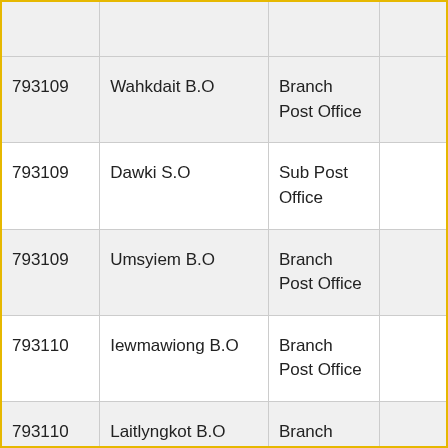| 793109 | Wahkdait B.O | Branch Post Office |  |
| 793109 | Dawki S.O | Sub Post Office |  |
| 793109 | Umsyiem B.O | Branch Post Office |  |
| 793110 | Iewmawiong B.O | Branch Post Office |  |
| 793110 | Laitlyngkot B.O | Branch |  |